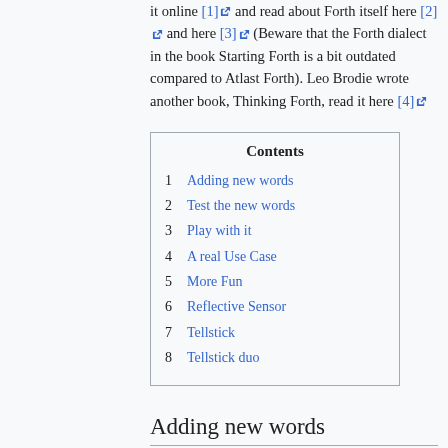it online [1] and read about Forth itself here [2] and here [3] (Beware that the Forth dialect in the book Starting Forth is a bit outdated compared to Atlast Forth). Leo Brodie wrote another book, Thinking Forth, read it here [4]
| Contents |
| --- |
| 1 | Adding new words |
| 2 | Test the new words |
| 3 | Play with it |
| 4 | A real Use Case |
| 5 | More Fun |
| 6 | Reflective Sensor |
| 7 | Tellstick |
| 8 | Tellstick duo |
Adding new words
Most of the power of Atlast Forth derives